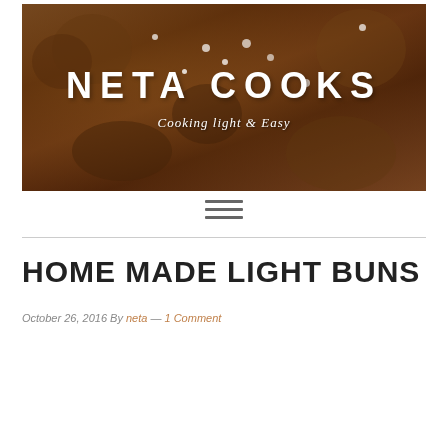[Figure (photo): Header banner image showing baked cookies/buns with white sugar crystals on top, warm brown tones. Overlaid with blog title 'NETA COOKS' in large white uppercase letters and subtitle 'Cooking light & Easy' in white italic text.]
[Figure (other): Hamburger menu icon consisting of three horizontal dark gray lines]
HOME MADE LIGHT BUNS
October 26, 2016 By neta — 1 Comment